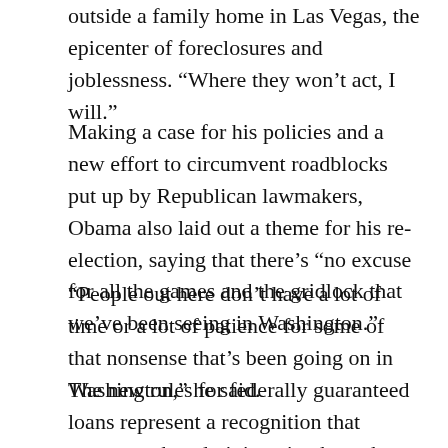outside a family home in Las Vegas, the epicenter of foreclosures and joblessness. “Where they won’t act, I will.”
Making a case for his policies and a new effort to circumvent roadblocks put up by Republican lawmakers, Obama also laid out a theme for his re-election, saying that there’s “no excuse for all the games and the gridlock that we’ve been seeing in Washington.”
“People out here don’t have a lot of time or a lot of patience for some of that nonsense that’s been going on in Washington,” he said.
The new rules for federally guaranteed loans represent a recognition that measures the administration has taken so far on housing have not worked as well as expected.